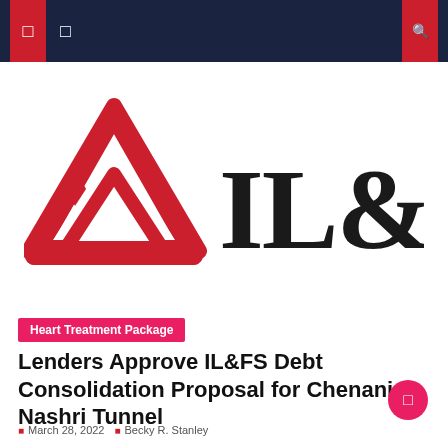IL&FS navigation header
[Figure (logo): IL&FS logo: red triangular interlocking symbol on left, black bold text 'IL&FS' on right]
Heart Treatment Package
Lenders Approve IL&FS Debt Consolidation Proposal for Chenani Nashri Tunnel
March 28, 2022   Becky R. Stanley